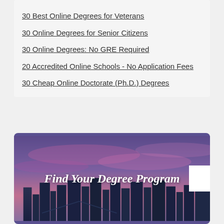30 Best Online Degrees for Veterans
30 Online Degrees for Senior Citizens
30 Online Degrees: No GRE Required
20 Accredited Online Schools - No Application Fees
30 Cheap Online Doctorate (Ph.D.) Degrees
[Figure (photo): City skyline at dusk with purple and pink sky, with overlaid text 'Find Your Degree Program']